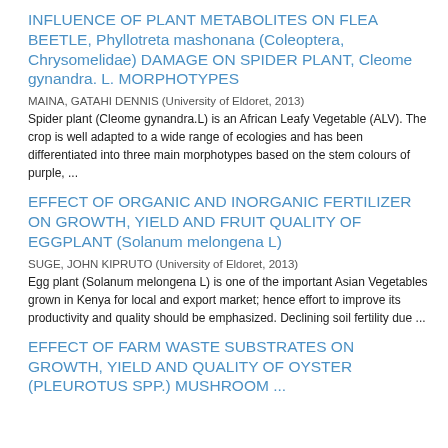INFLUENCE OF PLANT METABOLITES ON FLEA BEETLE, Phyllotreta mashonana (Coleoptera, Chrysomelidae) DAMAGE ON SPIDER PLANT, Cleome gynandra. L. MORPHOTYPES
MAINA, GATAHI DENNIS (University of Eldoret, 2013)
Spider plant (Cleome gynandra.L) is an African Leafy Vegetable (ALV). The crop is well adapted to a wide range of ecologies and has been differentiated into three main morphotypes based on the stem colours of purple, ...
EFFECT OF ORGANIC AND INORGANIC FERTILIZER ON GROWTH, YIELD AND FRUIT QUALITY OF EGGPLANT (Solanum melongena L)
SUGE, JOHN KIPRUTO (University of Eldoret, 2013)
Egg plant (Solanum melongena L) is one of the important Asian Vegetables grown in Kenya for local and export market; hence effort to improve its productivity and quality should be emphasized. Declining soil fertility due ...
EFFECT OF FARM WASTE SUBSTRATES ON GROWTH, YIELD AND QUALITY OF OYSTER (PLEUROTUS SPP.) MUSHROOM ...